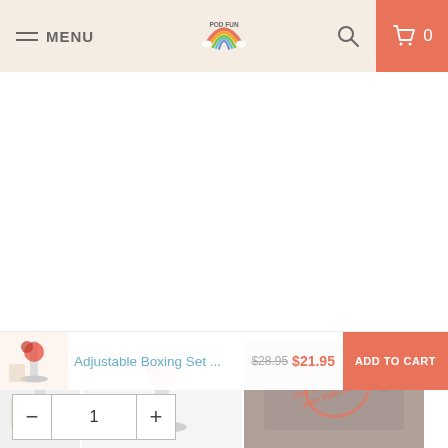MENU | POD FUN | [search] | 0
[Figure (screenshot): E-commerce product page for an adjustable boxing set, showing product images and thumbnails in a white content area]
Adjustable Boxing Set ... $28.95 $21.95 ADD TO CART
— 1 +